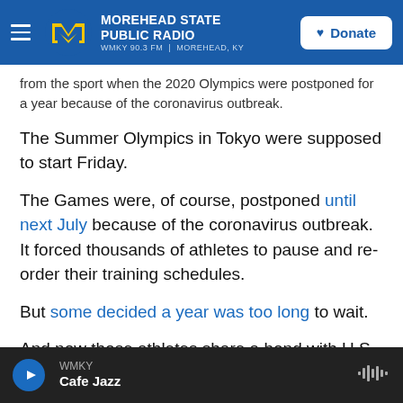Morehead State Public Radio — WMKY 90.3 FM | Morehead, KY — Donate
from the sport when the 2020 Olympics were postponed for a year because of the coronavirus outbreak.
The Summer Olympics in Tokyo were supposed to start Friday.
The Games were, of course, postponed until next July because of the coronavirus outbreak. It forced thousands of athletes to pause and re-order their training schedules.
But some decided a year was too long to wait.
And now those athletes share a bond with U.S.
WMKY — Cafe Jazz